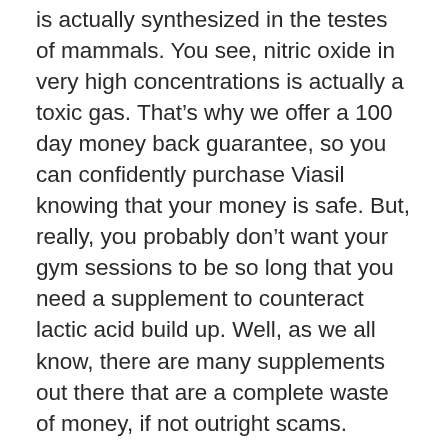is actually synthesized in the testes of mammals. You see, nitric oxide in very high concentrations is actually a toxic gas. That’s why we offer a 100 day money back guarantee, so you can confidently purchase Viasil knowing that your money is safe. But, really, you probably don’t want your gym sessions to be so long that you need a supplement to counteract lactic acid build up. Well, as we all know, there are many supplements out there that are a complete waste of money, if not outright scams.
Propionyl-l-carnitine is a prescription drug in Europe, used in the treatment of intermittent claudication. Propionyl-l-carnitine has been demonstrated to increase blood nitric oxide in response to 6 grams per day given via